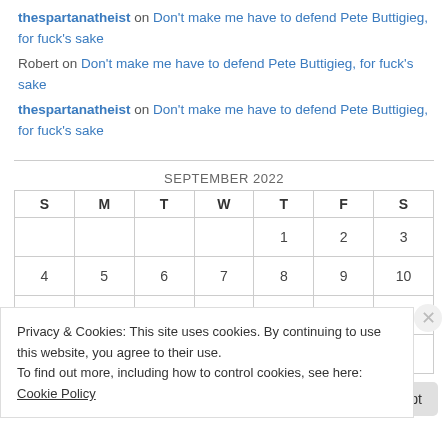thespartanatheist on Don't make me have to defend Pete Buttigieg, for fuck's sake
Robert on Don't make me have to defend Pete Buttigieg, for fuck's sake
thespartanatheist on Don't make me have to defend Pete Buttigieg, for fuck's sake
| S | M | T | W | T | F | S |
| --- | --- | --- | --- | --- | --- | --- |
|  |  |  |  | 1 | 2 | 3 |
| 4 | 5 | 6 | 7 | 8 | 9 | 10 |
| 11 | 12 | 13 | 14 | 15 | 16 | 17 |
| 18 | 19 | 20 | 21 | 22 | 23 | 24 |
Privacy & Cookies: This site uses cookies. By continuing to use this website, you agree to their use.
To find out more, including how to control cookies, see here: Cookie Policy